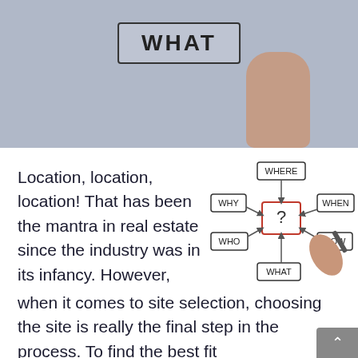[Figure (photo): Top portion of a photo showing a hand near a whiteboard/glass with the word WHAT written in a box, gray background]
Location, location, location! That has been the mantra in real estate since the industry was in its infancy. However, when it comes to site selection, choosing the site is really the final step in the process. To find the best fit
[Figure (illustration): Diagram showing interconnected question words: WHERE at top, WHY on left, WHEN on right, WHO lower left, HOW lower right, WHAT at bottom, all connected by arrows to a central box with a question mark. A hand holding a pen points to the diagram.]